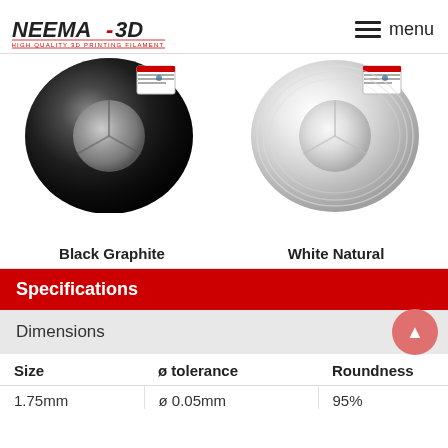NEEMA 3D — HIGH QUALITY 3D PRINTING FILAMENT | menu
[Figure (photo): Two spools of 3D printing filament side by side: left spool is Black Graphite, right spool is White Natural. Both have product labels on top.]
Black Graphite
White Natural
Specifications
Dimensions
| Size | ø tolerance | Roundness |
| --- | --- | --- |
| 1.75mm | ø 0.05mm | 95% |